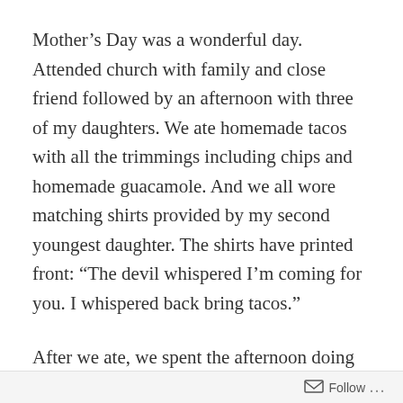Mother’s Day was a wonderful day. Attended church with family and close friend followed by an afternoon with three of my daughters. We ate homemade tacos with all the trimmings including chips and homemade guacamole. And we all wore matching shirts provided by my second youngest daughter. The shirts have printed front: “The devil whispered I’m coming for you. I whispered back bring tacos.”
After we ate, we spent the afternoon doing Bible Trivia questions. Lots of fun and we learned a lot, too!
My second oldest daughter arrived on Wednesday and we’ve been enjoying our days with crafting, chatting, and eating! She made ratatouille one evening. I’d never eaten
Follow